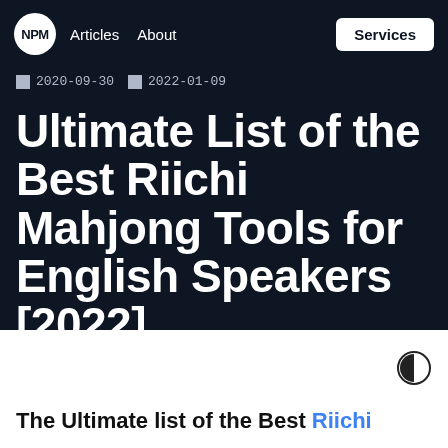NPM  Articles  About  Services
2020-09-30  2022-01-09
Ultimate List of the Best Riichi Mahjong Tools for English Speakers [2022]
By Nicolas Pro  10 min read
The Ultimate list of the Best Riichi...